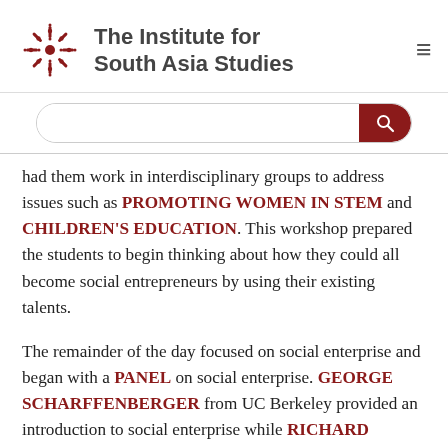[Figure (logo): The Institute for South Asia Studies logo with a red snowflake/mandala graphic and text]
had them work in interdisciplinary groups to address issues such as PROMOTING WOMEN IN STEM and CHILDREN'S EDUCATION. This workshop prepared the students to begin thinking about how they could all become social entrepreneurs by using their existing talents.
The remainder of the day focused on social enterprise and began with a PANEL on social enterprise. GEORGE SCHARFFENBERGER from UC Berkeley provided an introduction to social enterprise while RICHARD MARTINEZ, CHAD STERBENZ, and ASIM FAYAZ all provided insights from their own social enterprises. UMAR AKRAM, a Cal student, gave an example of a social enterprise that was started by Pakistani